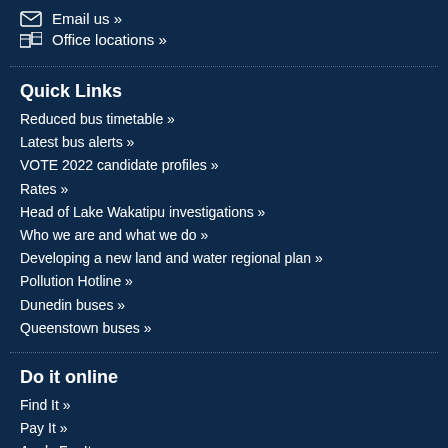Email us »
Office locations »
Quick Links
Reduced bus timetable »
Latest bus alerts »
VOTE 2022 candidate profiles »
Rates »
Head of Lake Wakatipu investigations »
Who we are and what we do »
Developing a new land and water regional plan »
Pollution Hotline »
Dunedin buses »
Queenstown buses »
Do it online
Find It »
Pay It »
Apply For It »